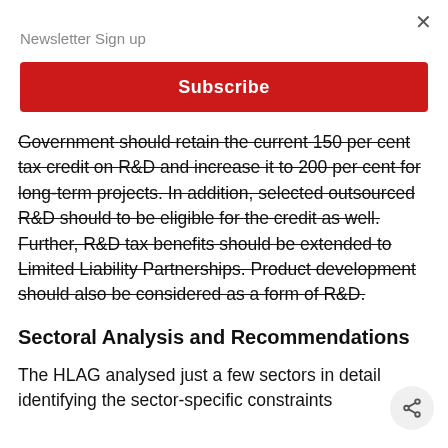Newsletter Sign up
[Figure (other): Red Subscribe button for newsletter sign-up]
Government should retain the current 150 per cent tax credit on R&D and increase it to 200 per cent for long-term projects. In addition, selected outsourced R&D should to be eligible for the credit as well. Further, R&D tax benefits should be extended to Limited Liability Partnerships. Product development should also be considered as a form of R&D.
Sectoral Analysis and Recommendations
The HLAG analysed just a few sectors in detail identifying the sector-specific constraints